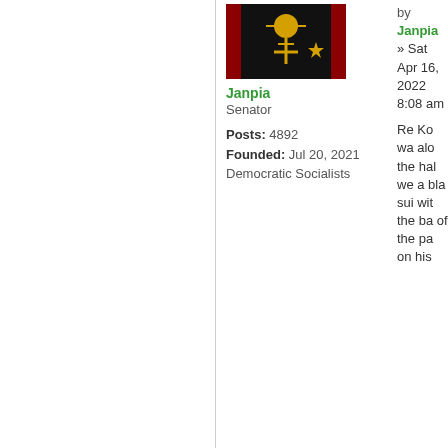[Figure (illustration): Flag image with red and black background, a golden cross and star symbol]
Janpia
Senator

Posts: 4892
Founded: Jul 20, 2021
Democratic Socialists
by Janpia
» Sat Apr 16, 2022 8:08 am

Re Ko wa alo the hal we a bla sui wit the ba of the pa on his